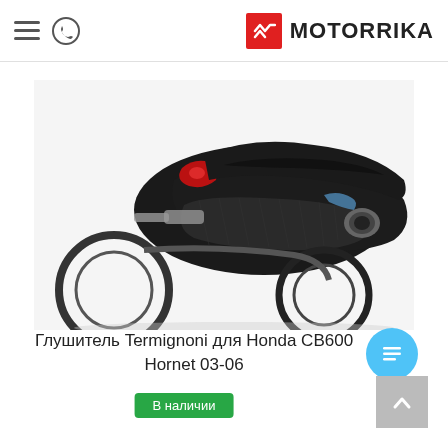MOTORRIKA
[Figure (photo): Photo of a Termignoni exhaust silencer mounted on a Honda CB600 Hornet motorcycle, showing the carbon fiber muffler and rear section of the bike]
Глушитель Termignoni для Honda CB600 Hornet 03-06
В наличии